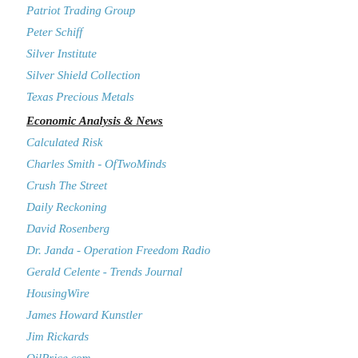Patriot Trading Group
Peter Schiff
Silver Institute
Silver Shield Collection
Texas Precious Metals
Economic Analysis & News
Calculated Risk
Charles Smith - OfTwoMinds
Crush The Street
Daily Reckoning
David Rosenberg
Dr. Janda - Operation Freedom Radio
Gerald Celente - Trends Journal
HousingWire
James Howard Kunstler
Jim Rickards
OilPrice.com